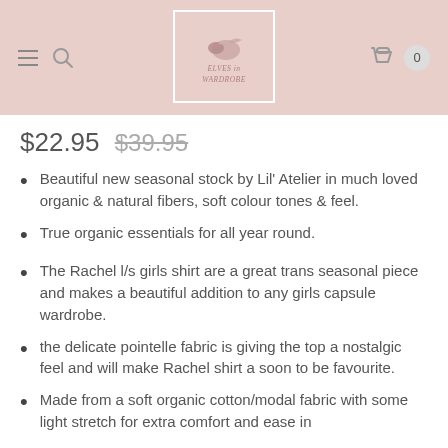Elves in the Wardrobe (logo header with navigation)
$22.95 $39.95
Beautiful new seasonal stock by Lil' Atelier in much loved organic & natural fibers, soft colour tones & feel.
True organic essentials for all year round.
The Rachel l/s girls shirt are a great trans seasonal piece and makes a beautiful addition to any girls capsule wardrobe.
the delicate pointelle fabric is giving the top a nostalgic feel and will make Rachel shirt a soon to be favourite.
Made from a soft organic cotton/modal fabric with some light stretch for extra comfort and ease in